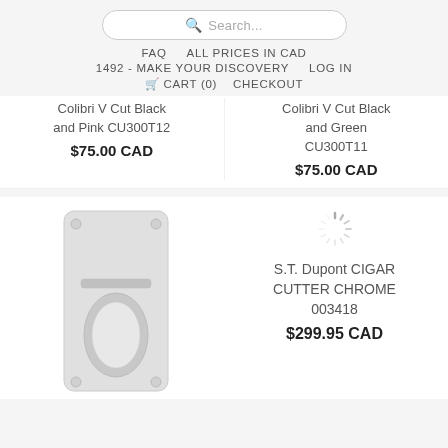Search...  FAQ  ALL PRICES IN CAD  1492 - MAKE YOUR DISCOVERY  LOG IN  CART (0)  CHECKOUT
Colibri V Cut Black and Pink CU300T12
$75.00 CAD
Colibri V Cut Black and Green CU300T11
$75.00 CAD
[Figure (photo): Photo of a cigar cutter in light gray/white color, showing a rectangular device with an oval cutout opening]
[Figure (other): Loading spinner icon (circular radiating lines)]
S.T. Dupont CIGAR CUTTER CHROME 003418
$299.95 CAD